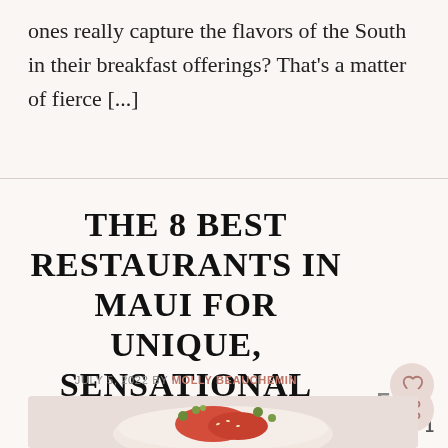ones really capture the flavors of the South in their breakfast offerings? That's a matter of fierce [...]
THE 8 BEST RESTAURANTS IN MAUI FOR UNIQUE, SENSATIONAL MEALS
JULY 5, 2022 BY MOLLY BEAUCHEMIN
[Figure (photo): Food dish photo showing a bowl with colorful garnish, partially visible at bottom of page]